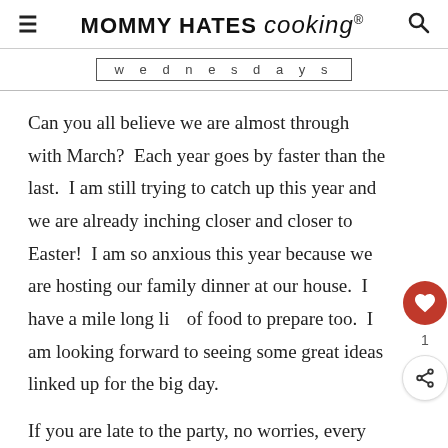MOMMY HATES cooking®
[Figure (other): Decorative text banner reading 'wednesdays' in a bordered box]
Can you all believe we are almost through with March?  Each year goes by faster than the last.  I am still trying to catch up this year and we are already inching closer and closer to Easter!  I am so anxious this year because we are hosting our family dinner at our house.  I have a mile long list of food to prepare too.  I am looking forward to seeing some great ideas linked up for the big day.
If you are late to the party, no worries, every